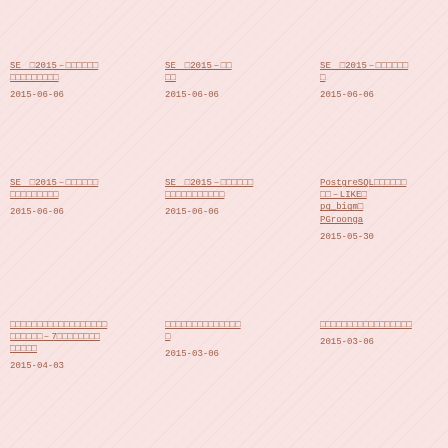SE　2015 - 　　　　 　　　　　　　　
2015-06-06
SE　2015 - 　　
2015-06-06
SE　2015 - 　　　　　 　
2015-06-06
SE　2015 - 　　　　 　　　　　　　　
2015-06-06
SE　2015 - 　　　　　 　　　　　　　　　　　
2015-06-06
PostgreSQL　　　　　　 　　 - LIKE　 pg_bigm　 PGroonga
2015-05-30
- 7　 　　　　　　 　　　　　
2015-04-03
2015-03-06
2015-03-06